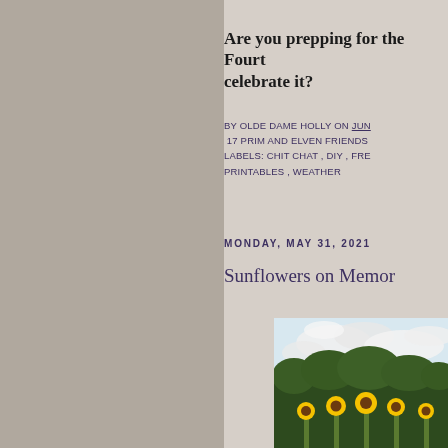Are you prepping for the Fourth of July or will you just celebrate it?
BY OLDE DAME HOLLY ON JUNE [date] 17 PRIM AND ELVEN FRIENDS LABELS: CHIT CHAT , DIY , FREE PRINTABLES , WEATHER
MONDAY, MAY 31, 2021
Sunflowers on Memor[ial Day]
[Figure (photo): Photo of sunflowers with trees and cloudy sky in background, taken on Memorial Day]